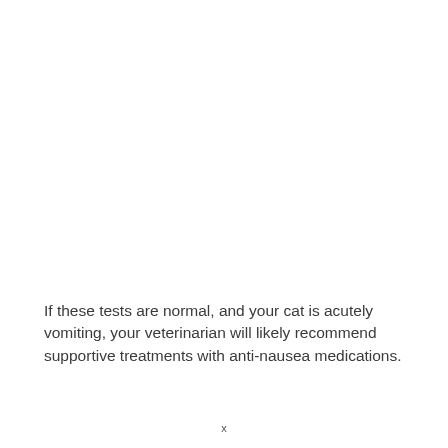If these tests are normal, and your cat is acutely vomiting, your veterinarian will likely recommend supportive treatments with anti-nausea medications.
x